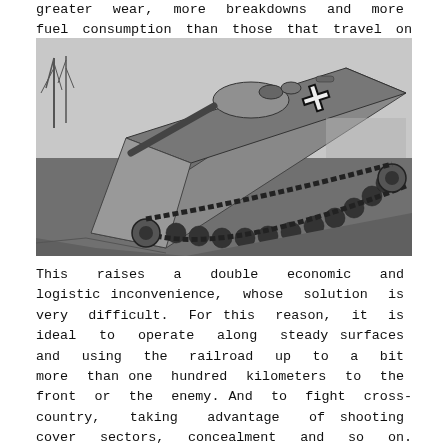greater wear, more breakdowns and more fuel consumption than those that travel on highways.
[Figure (photo): Black and white photograph of a German WWII tank (with Iron Cross marking) climbing a steep incline at a sharp angle, showing the underside and tracks, with trees and open field in the background.]
This raises a double economic and logistic inconvenience, whose solution is very difficult. For this reason, it is ideal to operate along steady surfaces and using the railroad up to a bit more than one hundred kilometers to the front or the enemy. And to fight cross-country, taking advantage of shooting cover sectors, concealment and so on. Using the tactical characteristics of the field.